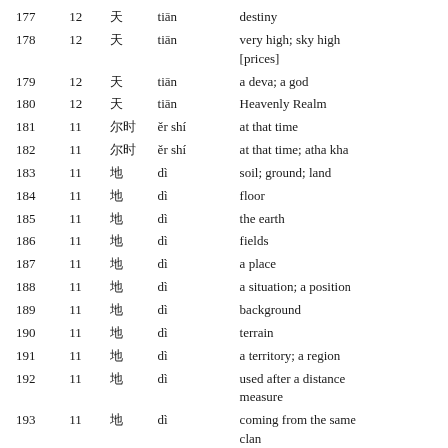|  |  |  |  |  |
| --- | --- | --- | --- | --- |
| 177 | 12 | □ | tiān | destiny |
| 178 | 12 | □ | tiān | very high; sky high [prices] |
| 179 | 12 | □ | tiān | a deva; a god |
| 180 | 12 | □ | tiān | Heavenly Realm |
| 181 | 11 | □□ | ěr shí | at that time |
| 182 | 11 | □□ | ěr shí | at that time; atha kha |
| 183 | 11 | □ | dì | soil; ground; land |
| 184 | 11 | □ | dì | floor |
| 185 | 11 | □ | dì | the earth |
| 186 | 11 | □ | dì | fields |
| 187 | 11 | □ | dì | a place |
| 188 | 11 | □ | dì | a situation; a position |
| 189 | 11 | □ | dì | background |
| 190 | 11 | □ | dì | terrain |
| 191 | 11 | □ | dì | a territory; a region |
| 192 | 11 | □ | dì | used after a distance measure |
| 193 | 11 | □ | dì | coming from the same clan |
| 194 | 11 | □ | dì | earth; prthivi |